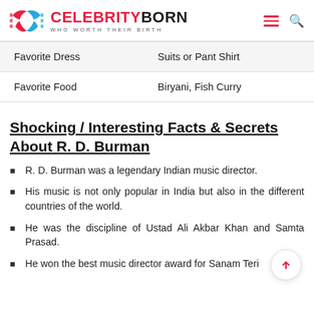CELEBRITY BORN — WHO WORTH THEIR BIRTH
| Favorite Dress | Suits or Pant Shirt |
| Favorite Food | Biryani, Fish Curry |
Shocking / Interesting Facts & Secrets About R. D. Burman
R. D. Burman was a legendary Indian music director.
His music is not only popular in India but also in the different countries of the world.
He was the discipline of Ustad Ali Akbar Khan and Samta Prasad.
He won the best music director award for Sanam Teri